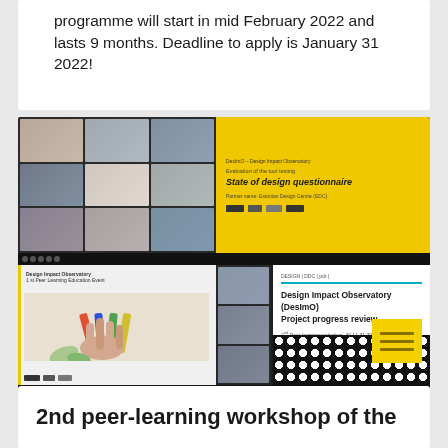programme will start in mid February 2022 and lasts 9 months. Deadline to apply is January 31 2022!
[Figure (screenshot): Two screenshots of a video conference (Zoom/Teams) showing participants in a grid layout and presentation slides. Top screenshot: left side shows a 3x3 grid of participant video thumbnails; right side shows a yellow presentation slide titled 'State of design questionnaire' with subtitle 'Evaluation of the tool testing', partner name 'Estonian Design Centre (EDC)', and logos. Bottom screenshot: left side shows a slide/website with a hand holding markers illustration and project logos; middle shows a vertical strip of participant thumbnails; right side shows a white slide titled 'Design Impact Observatory (DesImO) Project progress review' with a circular pattern background and a yellow sticky note icon.]
2nd peer-learning workshop of the